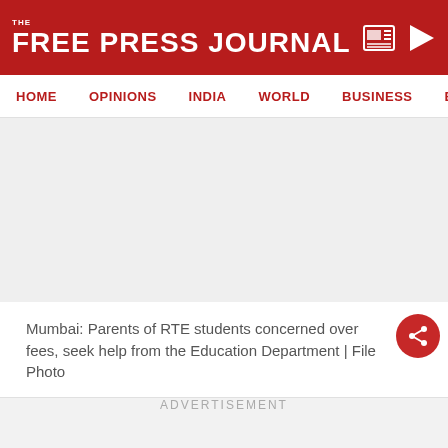THE FREE PRESS JOURNAL
HOME  OPINIONS  INDIA  WORLD  BUSINESS  ENTERTAIN
Mumbai: Parents of RTE students concerned over fees, seek help from the Education Department | File Photo
ADVERTISEMENT